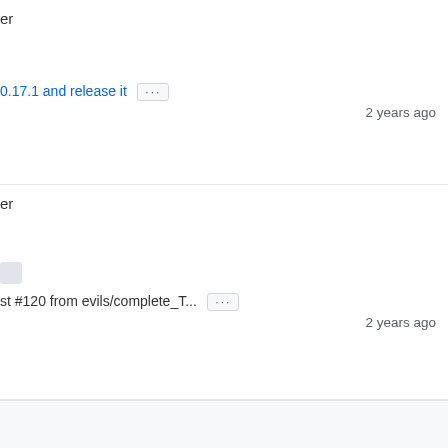er
0.17.1 and release it ... 2 years ago
er
st #120 from evils/complete_T... ... 2 years ago